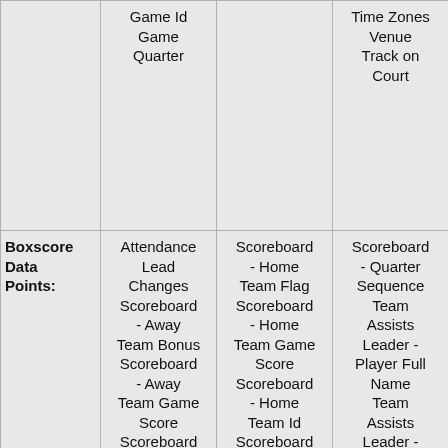|  | Game Id
Game
Quarter |  | Time Zones
Venue
Track on Court |
| --- | --- | --- | --- |
| Boxscore Data Points: | Attendance
Lead Changes
Scoreboard - Away Team Bonus
Scoreboard - Away Team Game Score
Scoreboard - Away Team Id
Scoreboard | Scoreboard - Home Team Flag
Scoreboard - Home Team Game Score
Scoreboard - Home Team Id
Scoreboard - Home Team Market | Scoreboard - Quarter Sequence
Team Assists Leader - Player Full Name
Team Assists Leader - Player
Team Assists |